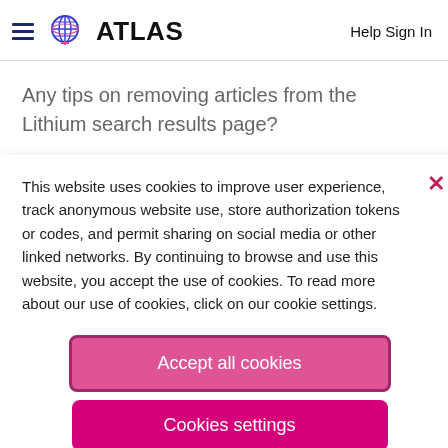ATLAS  Help Sign In
Any tips on removing articles from the Lithium search results page?
This website uses cookies to improve user experience, track anonymous website use, store authorization tokens or codes, and permit sharing on social media or other linked networks. By continuing to browse and use this website, you accept the use of cookies. To read more about our use of cookies, click on our cookie settings.
Accept all cookies
Cookies settings
In response to tealiumjustin